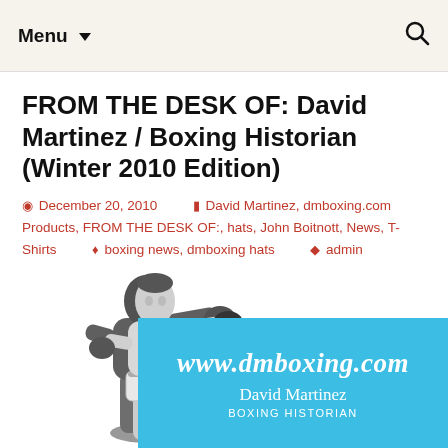Menu ▾
FROM THE DESK OF: David Martinez / Boxing Historian (Winter 2010 Edition)
December 20, 2010   David Martinez, dmboxing.com Products, FROM THE DESK OF:, hats, John Boitnott, News, T-Shirts   boxing news, dmboxing hats   admin
[Figure (photo): Black and white photo of a male boxer throwing a punch, with a blue banner overlay reading www.dmboxing.com, David Martinez, BOXING HISTORIAN]